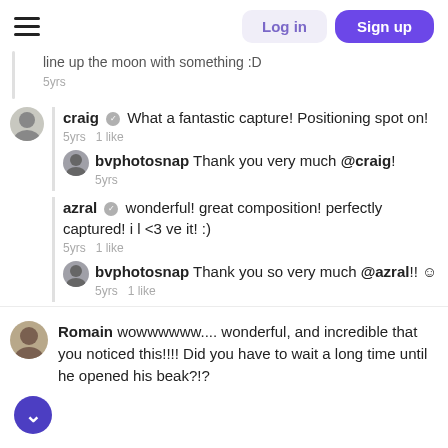Log in | Sign up
how much the earth moves and you are trying to line up the moon with something :D
5yrs
craig ✓ What a fantastic capture! Positioning spot on!
5yrs  1 like
bvphotosnap Thank you very much @craig!
5yrs
azral ✓ wonderful! great composition! perfectly captured! i l <3 ve it! :)
5yrs  1 like
bvphotosnap Thank you so very much @azral!! ☺
5yrs  1 like
Romain wowwwwww.... wonderful, and incredible that you noticed this!!!! Did you have to wait a long time until he opened his beak?!?